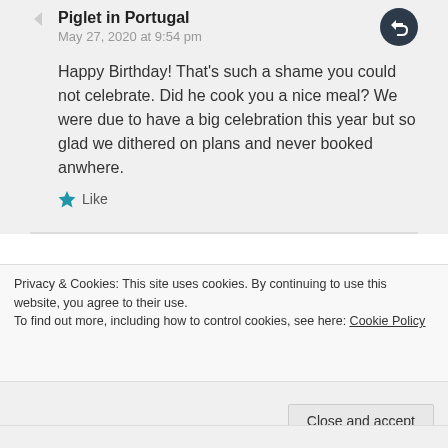Piglet in Portugal
May 27, 2020 at 9:54 pm
Happy Birthday! That's such a shame you could not celebrate. Did he cook you a nice meal? We were due to have a big celebration this year but so glad we dithered on plans and never booked anwhere.
Like
Please share your
Privacy & Cookies: This site uses cookies. By continuing to use this website, you agree to their use.
To find out more, including how to control cookies, see here: Cookie Policy
Close and accept